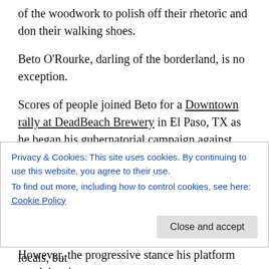of the woodwork to polish off their rhetoric and don their walking shoes.
Beto O'Rourke, darling of the borderland, is no exception.
Scores of people joined Beto for a Downtown rally at DeadBeach Brewery in El Paso, TX as he began his gubernatorial campaign against Greg Abbott. As when he ran for the Senate seat against Ted Cruz, O'Rourke towed his quasi-progressive line advocating for “well-paying jobs, improving public schools and expanding Medicaid.”
However, the progressive stance his platform proclaims is
Privacy & Cookies: This site uses cookies. By continuing to use this website, you agree to their use.
To find out more, including how to control cookies, see here: Cookie Policy
Beto will be sure to garner much support from locals, but